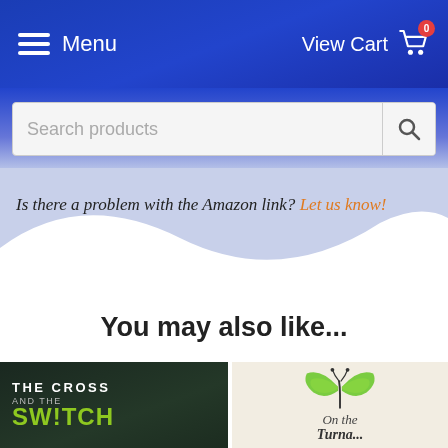Menu  |  View Cart 0
Search products
Is there a problem with the Amazon link? Let us know!
You may also like...
[Figure (photo): Book cover: THE CROSS AND THE SWITCH with dark background and silhouette figure, green text at bottom]
[Figure (photo): Book cover with green butterfly and italic text 'On the Turna...' on light background]